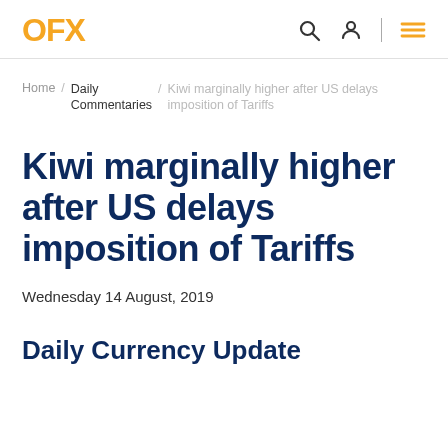OFX
Home / Daily Commentaries / Kiwi marginally higher after US delays imposition of Tariffs
Kiwi marginally higher after US delays imposition of Tariffs
Wednesday 14 August, 2019
Daily Currency Update